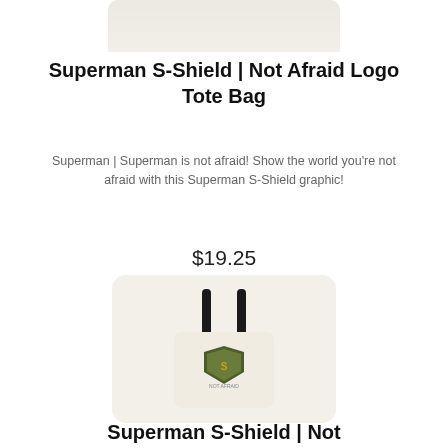[Figure (photo): Top portion of a tote bag product image on light background, cropped at top]
Superman S-Shield | Not Afraid Logo Tote Bag
Superman | Superman is not afraid! Show the world you're not afraid with this Superman S-Shield graphic!
$19.25
[Figure (photo): Cream-colored tote bag with black handles featuring Superman S-Shield 'Not Afraid' camo graphic design, displayed on light rounded-corner card]
Superman S-Shield | Not